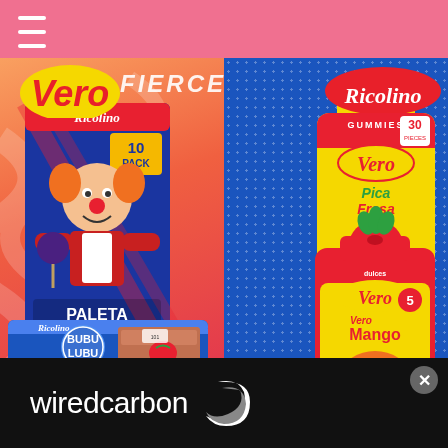[Figure (photo): Mexican candy product photo showing Ricolino Paleta Payaso 10-pack box (clown marshmallow chocolate pops), Vero PicaFresa gummy candy bag (30 pieces), Ricolino Bubu Lubu chocolate bar, and Vero Mango lollipop bag (6 pieces). Background is split diagonally with orange-red on left and blue on right. Top has Vero and Ricolino brand logos. FIERCE watermark text overlaid.]
[Figure (logo): Wired Carbon logo/banner - black background with white text reading wiredcarbon and a stylized swoosh/spiral logo mark in white on the right side.]